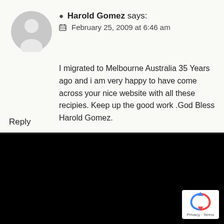[Figure (illustration): Gray default user avatar — silhouette of a person in a circle]
Harold Gomez says:
February 25, 2009 at 6:46 am
I migrated to Melbourne Australia 35 Years ago and i am very happy to have come across your nice website with all these recipies. Keep up the good work .God Bless Harold Gomez.
Reply